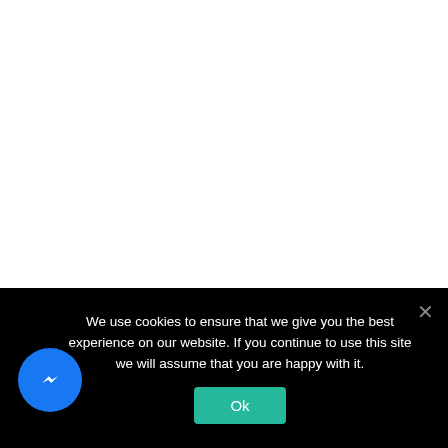[Figure (screenshot): White blank area occupying the upper portion of the page, representing a website background.]
We use cookies to ensure that we give you the best experience on our website. If you continue to use this site we will assume that you are happy with it.
[Figure (logo): Facebook Messenger circular icon with white lightning-bolt chat symbol on blue background.]